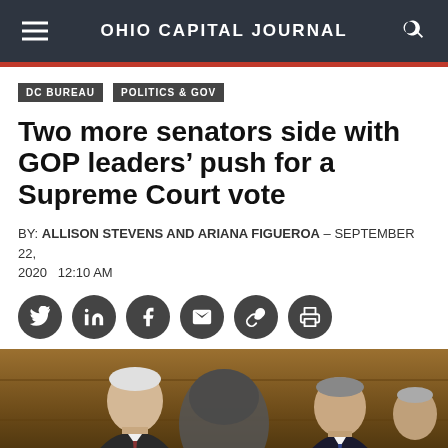OHIO CAPITAL JOURNAL
DC BUREAU
POLITICS & GOV
Two more senators side with GOP leaders’ push for a Supreme Court vote
BY: ALLISON STEVENS AND ARIANA FIGUEROA – SEPTEMBER 22, 2020   12:10 AM
[Figure (photo): Photograph of senators at what appears to be a Senate hearing room with wood-paneled walls; multiple people visible including two older men in suits in the foreground.]